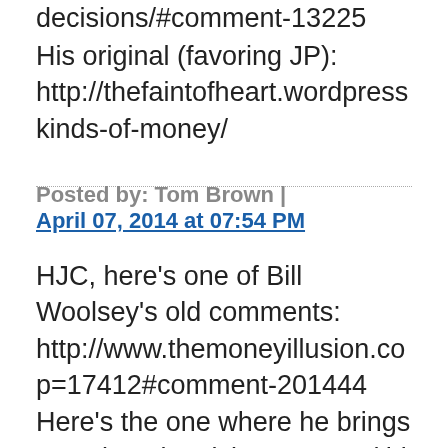decisions/#comment-13225
His original (favoring JP):
http://thefaintofheart.wordpress
kinds-of-money/
Posted by: Tom Brown | April 07, 2014 at 07:54 PM
HJC, here's one of Bill Woolsey's old comments: http://www.themoneyillusion.co p=17412#comment-201444 Here's the one where he brings up using electricity as MOA (this was a very clever way to make sure it's not also an MOE, and the reason I like it so much): http://www.themoneyillusion.co